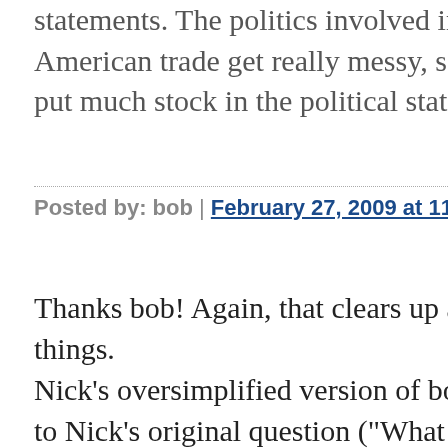statements. The politics involved in Chinese-American trade get really messy, so I don't put much stock in the political statements.
Posted by: bob | February 27, 2009 at 11:53 AM
Thanks bob! Again, that clears up a lot of things.
Nick's oversimplified version of bob's answer to Nick's original question ("What the silence of the bloggers?")
Answer: half the bloggers don't understand China and macro; and those who do understand China and macro